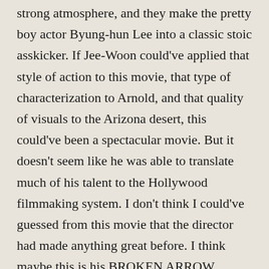strong atmosphere, and they make the pretty boy actor Byung-hun Lee into a classic stoic asskicker. If Jee-Woon could've applied that style of action to this movie, that type of characterization to Arnold, and that quality of visuals to the Arizona desert, this could've been a spectacular movie. But it doesn't seem like he was able to translate much of his talent to the Hollywood filmmaking system. I don't think I could've guessed from this movie that the director had made anything great before. I think maybe this is his BROKEN ARROW.
For that reason maybe it's for the best that this thing pathetically opened in ninth place at the U.S. box office, three slots below a found footage farting ghost comedy in its second week. At first this was